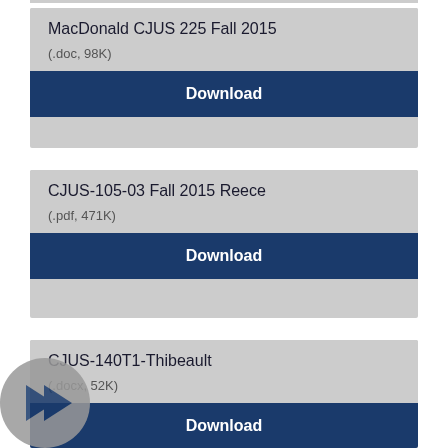MacDonald CJUS 225 Fall 2015
(.doc, 98K)
Download
CJUS-105-03 Fall 2015 Reece
(.pdf, 471K)
Download
CJUS-140T1-Thibeault
(.docx, 52K)
Download